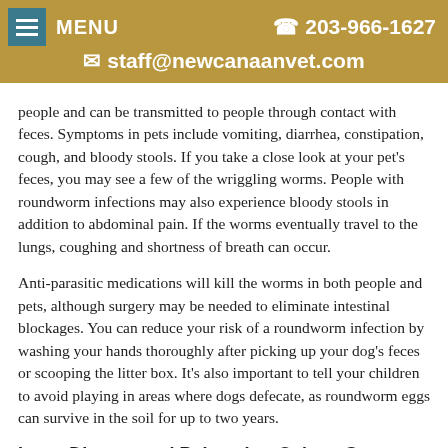MENU  ☎ 203-966-1627  ✉ staff@newcanaanvet.com
people and can be transmitted to people through contact with feces. Symptoms in pets include vomiting, diarrhea, constipation, cough, and bloody stools. If you take a close look at your pet's feces, you may see a few of the wriggling worms. People with roundworm infections may also experience bloody stools in addition to abdominal pain. If the worms eventually travel to the lungs, coughing and shortness of breath can occur.
Anti-parasitic medications will kill the worms in both people and pets, although surgery may be needed to eliminate intestinal blockages. You can reduce your risk of a roundworm infection by washing your hands thoroughly after picking up your dog's feces or scooping the litter box. It's also important to tell your children to avoid playing in areas where dogs defecate, as roundworm eggs can survive in the soil for up to two years.
Lyme Disease and Poison Ivy, Oak, or Sumac
Have you ever developed a rash that looked like poison oak or